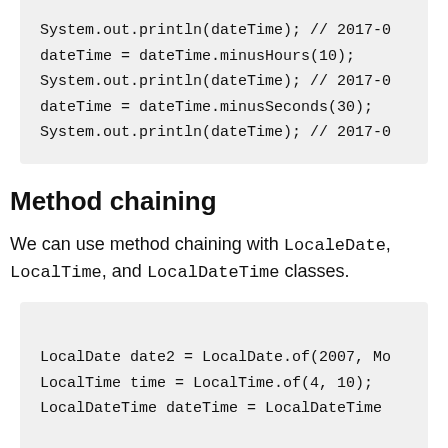System.out.println(dateTime); // 2017-0
dateTime = dateTime.minusHours(10);
System.out.println(dateTime); // 2017-0
dateTime = dateTime.minusSeconds(30);
System.out.println(dateTime); // 2017-0
Method chaining
We can use method chaining with LocaleDate, LocalTime, and LocalDateTime classes.
LocalDate date2 = LocalDate.of(2007, Mo
LocalTime time = LocalTime.of(4, 10);
LocalDateTime dateTime = LocalDateTime
Periods (ofYears, ofMonths…)